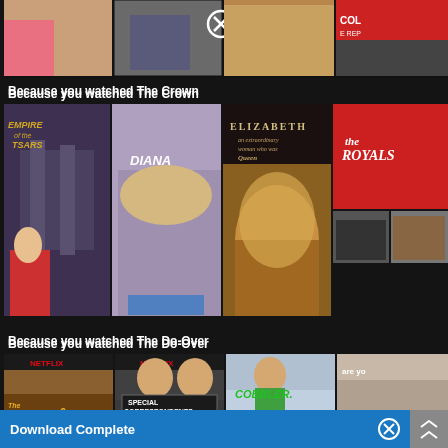[Figure (screenshot): Netflix interface screenshot showing movie recommendation rows. Top row shows partially visible thumbnails with a close (X) button overlay. Second section 'Because you watched The Crown' shows movie posters: Empire of the Tsars, Diana, Elizabeth, The Royals. Third section 'Because you watched The Do-Over' shows: The Ridiculous 6, Special Correspondents, Cobbler, and a partially visible fourth title. Bottom bar shows 'Download Complete' notification with close button and scroll arrows.]
Because you watched The Crown
Because you watched The Do-Over
Download Complete